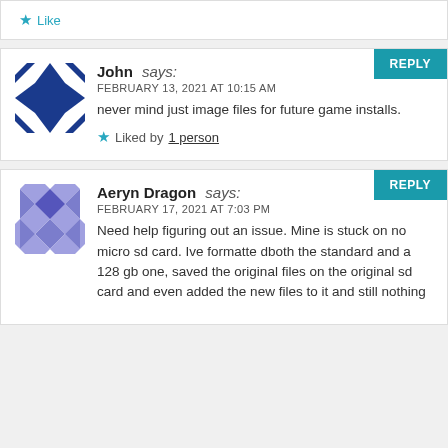Like
John says:
FEBRUARY 13, 2021 AT 10:15 AM
never mind just image files for future game installs.
Liked by 1 person
Aeryn Dragon says:
FEBRUARY 17, 2021 AT 7:03 PM
Need help figuring out an issue. Mine is stuck on no micro sd card. Ive formatte dboth the standard and a 128 gb one, saved the original files on the original sd card and even added the new files to it and still nothing